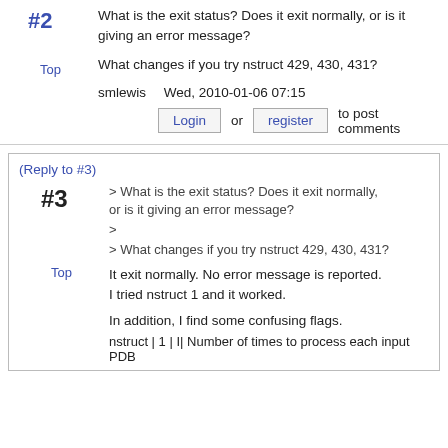#2
What is the exit status? Does it exit normally, or is it giving an error message?
Top
What changes if you try nstruct 429, 430, 431?
smlewis    Wed, 2010-01-06 07:15
Login or register to post comments
(Reply to #3)
#3
> What is the exit status? Does it exit normally, or is it giving an error message?
>
> What changes if you try nstruct 429, 430, 431?
Top
It exit normally. No error message is reported. I tried nstruct 1 and it worked.
In addition, I find some confusing flags.
nstruct | 1 | I| Number of times to process each input PDB